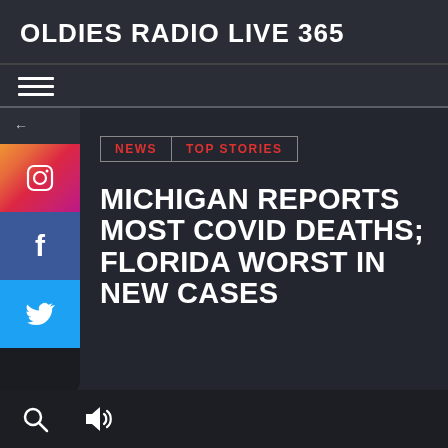OLDIES RADIO LIVE 365
[Figure (screenshot): Website screenshot showing social media sidebar with Instagram, Facebook, Twitter icons, NEWS and TOP STORIES category tags, and article headline]
MICHIGAN REPORTS MOST COVID DEATHS; FLORIDA WORST IN NEW CASES